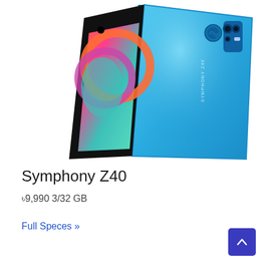[Figure (photo): Symphony Z40 smartphone showing the back in light blue gradient color with camera module and fingerprint sensor at top, and phone front showing a colorful display, angled product shot]
Symphony Z40
৳9,990 3/32 GB
Full Speces »